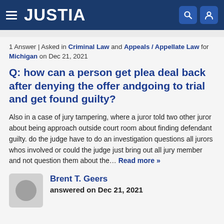JUSTIA
1 Answer | Asked in Criminal Law and Appeals / Appellate Law for Michigan on Dec 21, 2021
Q: how can a person get plea deal back after denying the offer andgoing to trial and get found guilty?
Also in a case of jury tampering, where a juror told two other juror about being approach outside court room about finding defendant guilty. do the judge have to do an investigation questions all jurors whos involved or could the judge just bring out all jury member and not question them about the… Read more »
Brent T. Geers
answered on Dec 21, 2021